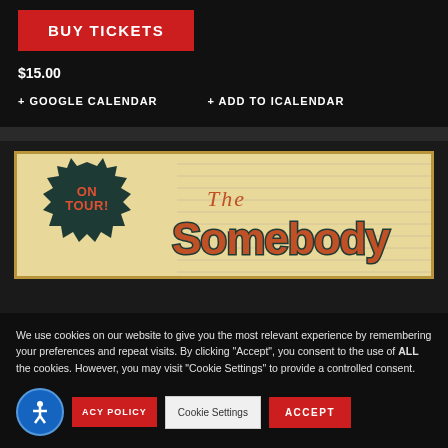BUY TICKETS
$15.00
+ GOOGLE CALENDAR
+ ADD TO ICALENDAR
[Figure (illustration): Band promotional banner with vintage/retro style design. Shows 'ON TOUR!' text in a dark starburst badge on left, and band name in large ornate lettering on cream/tan background with teal border.]
We use cookies on our website to give you the most relevant experience by remembering your preferences and repeat visits. By clicking “Accept”, you consent to the use of ALL the cookies. However, you may visit “Cookie Settings” to provide a controlled consent.
ACY POLICY
Cookie Settings
ACCEPT